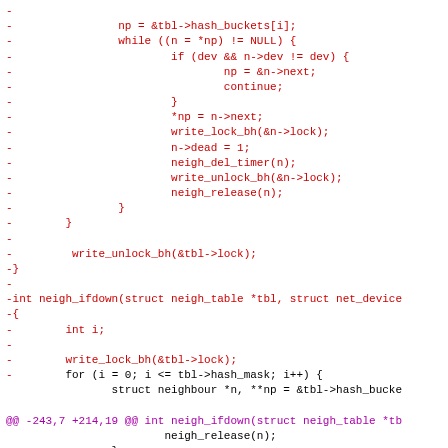[Figure (screenshot): A diff/patch view of C source code showing removed lines (in red, prefixed with '-') related to neighbour table hash bucket iteration and neigh_ifdown function, and context lines (in black). A purple @@ hunk header line appears near the bottom, followed by black context lines.]